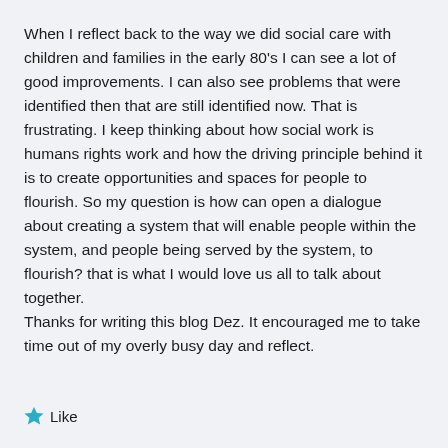When I reflect back to the way we did social care with children and families in the early 80's I can see a lot of good improvements. I can also see problems that were identified then that are still identified now. That is frustrating. I keep thinking about how social work is humans rights work and how the driving principle behind it is to create opportunities and spaces for people to flourish. So my question is how can open a dialogue about creating a system that will enable people within the system, and people being served by the system, to flourish? that is what I would love us all to talk about together.
Thanks for writing this blog Dez. It encouraged me to take time out of my overly busy day and reflect.
Like